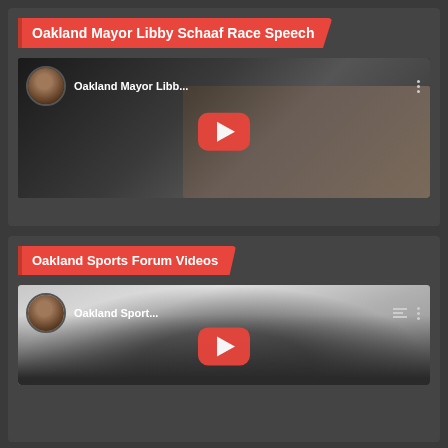Oakland Mayor Libby Schaaf Race Speech
[Figure (screenshot): YouTube video thumbnail for 'Oakland Mayor Libby Schaaf Race Speech' showing a man in a suit with a blurred podium background and YouTube play button overlay]
Oakland Sports Forum Videos
[Figure (screenshot): YouTube playlist thumbnail for 'Oakland Sports Forum Videos' showing a man's face close-up with YouTube play button overlay and playlist/queue icons]